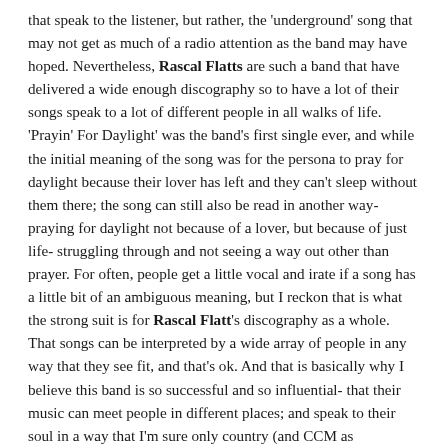that speak to the listener, but rather, the 'underground' song that may not get as much of a radio attention as the band may have hoped. Nevertheless, Rascal Flatts are such a band that have delivered a wide enough discography so to have a lot of their songs speak to a lot of different people in all walks of life. 'Prayin' For Daylight' was the band's first single ever, and while the initial meaning of the song was for the persona to pray for daylight because their lover has left and they can't sleep without them there; the song can still also be read in another way- praying for daylight not because of a lover, but because of just life- struggling through and not seeing a way out other than prayer. For often, people get a little vocal and irate if a song has a little bit of an ambiguous meaning, but I reckon that is what the strong suit is for Rascal Flatt's discography as a whole. That songs can be interpreted by a wide array of people in any way that they see fit, and that's ok. And that is basically why I believe this band is so successful and so influential- that their music can meet people in different places; and speak to their soul in a way that I'm sure only country (and CCM as